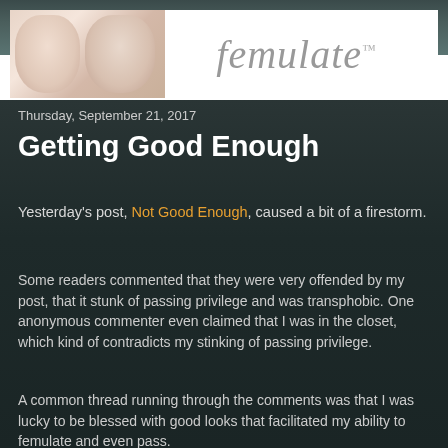[Figure (logo): Femulate blog header with illustrated female faces on left and stylized script logo text 'Femulate™' on white banner]
Thursday, September 21, 2017
Getting Good Enough
Yesterday's post, Not Good Enough, caused a bit of a firestorm.
Some readers commented that they were very offended by my post, that it stunk of passing privilege and was transphobic. One anonymous commenter even claimed that I was in the closet, which kind of contradicts my stinking of passing privilege.
A common thread running through the comments was that I was lucky to be blessed with good looks that facilitated my ability to femulate and even pass.